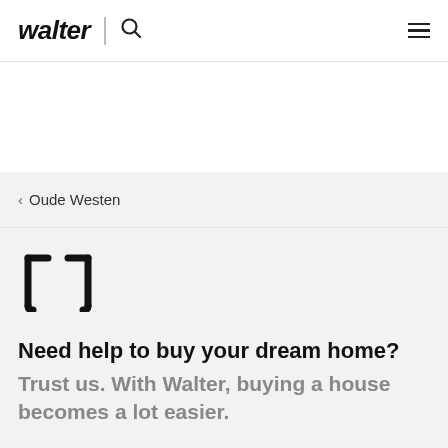walter
< Oude Westen
[Figure (logo): Walter stylized bracket logo mark]
Need help to buy your dream home?
Trust us. With Walter, buying a house becomes a lot easier.